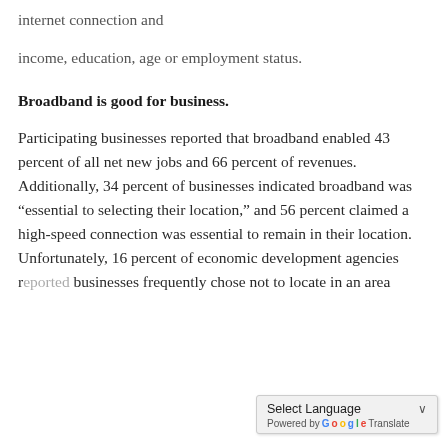internet connection and
income, education, age or employment status.
Broadband is good for business.
Participating businesses reported that broadband enabled 43 percent of all net new jobs and 66 percent of revenues. Additionally, 34 percent of businesses indicated broadband was “essential to selecting their location,” and 56 percent claimed a high-speed connection was essential to remain in their location. Unfortunately, 16 percent of economic development agencies r… businesses frequently chose not to locate in an area